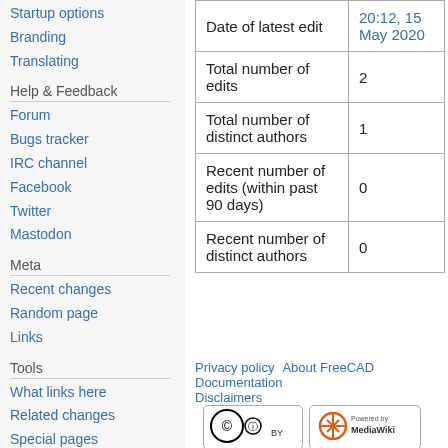Startup options
Branding
Translating
Help & Feedback
Forum
Bugs tracker
IRC channel
Facebook
Twitter
Mastodon
Meta
Recent changes
Random page
Links
Tools
What links here
Related changes
Special pages
Page information
In other languages
|  |  |
| --- | --- |
| Date of latest edit | 20:12, 15 May 2020 |
| Total number of edits | 2 |
| Total number of distinct authors | 1 |
| Recent number of edits (within past 90 days) | 0 |
| Recent number of distinct authors | 0 |
Privacy policy   About FreeCAD Documentation   Disclaimers
[Figure (logo): Creative Commons BY license badge]
[Figure (logo): Powered by MediaWiki badge]